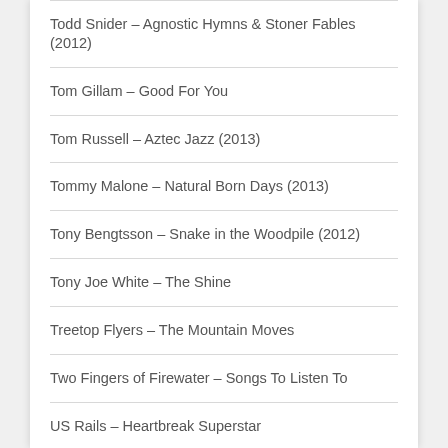Todd Snider – Agnostic Hymns & Stoner Fables (2012)
Tom Gillam – Good For You
Tom Russell – Aztec Jazz (2013)
Tommy Malone – Natural Born Days (2013)
Tony Bengtsson – Snake in the Woodpile (2012)
Tony Joe White – The Shine
Treetop Flyers – The Mountain Moves
Two Fingers of Firewater – Songs To Listen To
US Rails – Heartbreak Superstar
Various Artists – A Salute to Big E (Buddy Emmons)